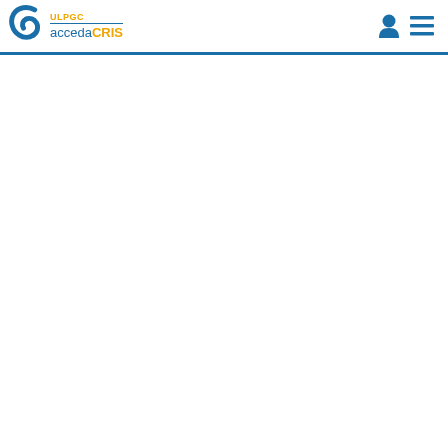ULPGC accedaCRIS — navigation header with logo, user icon, and menu icon